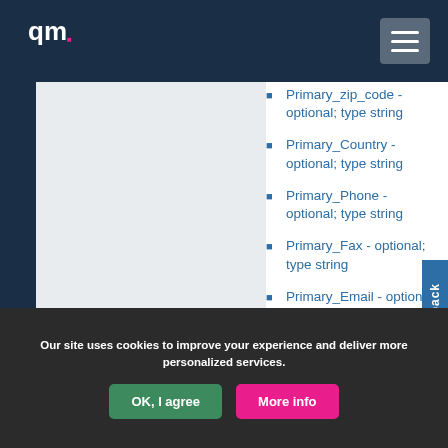qm (logo)
Primary_zip_code - optional; type string
Primary_Country - optional; type string
Primary_Phone - optional; type string
Primary_Fax - optional; type string
Primary_Email - optional; type string
Secondary_Address_1 - opt... type string
Secondary_Address_2 - optio...
Our site uses cookies to improve your experience and deliver more personalized services.
OK, I agree | More info